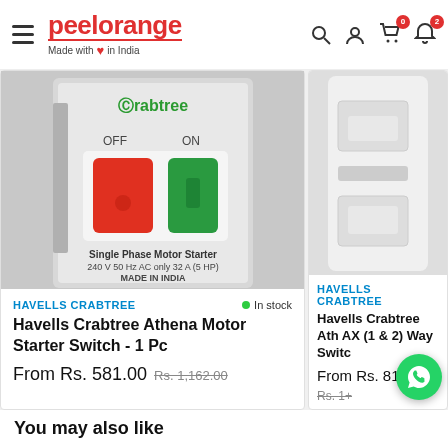peelorange — Made with love in India
[Figure (photo): Crabtree Single Phase Motor Starter Switch product image showing red OFF and green ON buttons, labeled Single Phase Motor Starter 240V 50Hz AC only 32A (5HP) MADE IN INDIA]
HAVELLS CRABTREE
In stock
Havells Crabtree Athena Motor Starter Switch - 1 Pc
From Rs. 581.00  Rs. 1,162.00
[Figure (photo): Partial view of a white electrical switch product (Havells Crabtree)]
HAVELLS CRABTREE
Havells Crabtree Ath AX (1 & 2) Way Switc
From Rs. 81.00  Rs. 1+
You may also like